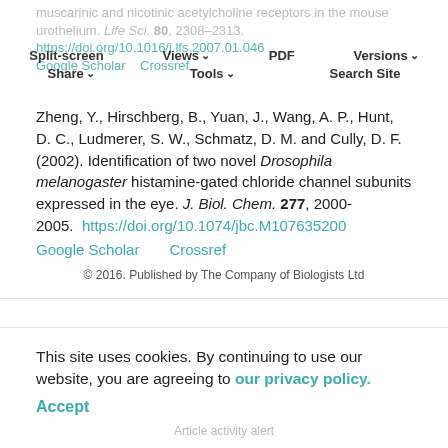muscarinic and nicotinic acetylcholine receptors in the mouse urothelium. Life Sci. 80, 2308-2313. https://doi.org/10.1016/j.lfs.2007.01.046 Google Scholar Crossref | Split-screen Views PDF Versions Share Tools Search Site
Zheng, Y., Hirschberg, B., Yuan, J., Wang, A. P., Hunt, D. C., Ludmerer, S. W., Schmatz, D. M. and Cully, D. F. (2002). Identification of two novel Drosophila melanogaster histamine-gated chloride channel subunits expressed in the eye. J. Biol. Chem. 277, 2000-2005. https://doi.org/10.1074/jbc.M107635200 Google Scholar Crossref
© 2016. Published by The Company of Biologists Ltd
This site uses cookies. By continuing to use our website, you are agreeing to our privacy policy. Accept